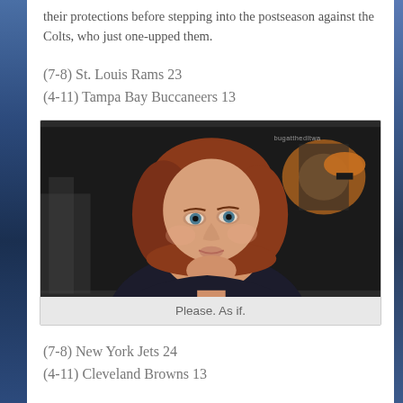their protections before stepping into the postseason against the Colts, who just one-upped them.
(7-8) St. Louis Rams 23
(4-11) Tampa Bay Buccaneers 13
[Figure (photo): A woman with auburn bob-length hair wearing a dark blazer, looking skeptically upward. There is a watermark in the upper right corner reading 'bugatthedltwa'. The background shows an interior setting with a lamp glowing orange.]
Please. As if.
(7-8) New York Jets 24
(4-11) Cleveland Browns 13